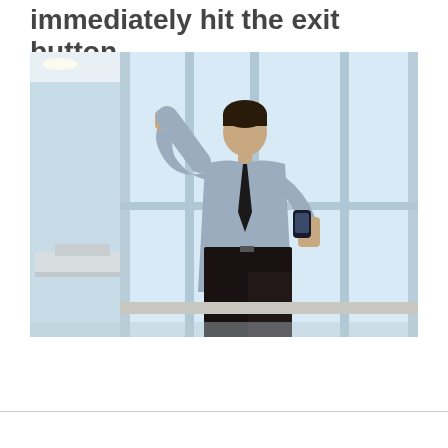immediately hit the exit button.
[Figure (photo): A businessman in a light blue shirt and dark tie leans against a large floor-to-ceiling window in an office corridor, looking down at his smartphone with a stressed or frustrated expression. His forehead rests on his raised fist against the glass. Office furniture and a bright exterior view are visible in the background.]